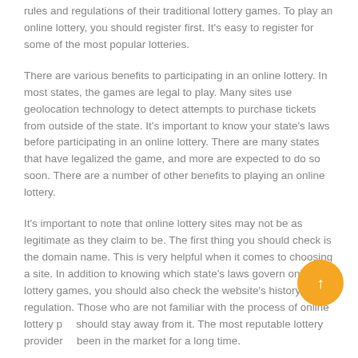rules and regulations of their traditional lottery games. To play an online lottery, you should register first. It's easy to register for some of the most popular lotteries.
There are various benefits to participating in an online lottery. In most states, the games are legal to play. Many sites use geolocation technology to detect attempts to purchase tickets from outside of the state. It's important to know your state's laws before participating in an online lottery. There are many states that have legalized the game, and more are expected to do so soon. There are a number of other benefits to playing an online lottery.
It's important to note that online lottery sites may not be as legitimate as they claim to be. The first thing you should check is the domain name. This is very helpful when it comes to choosing a site. In addition to knowing which state's laws govern online lottery games, you should also check the website's history and regulation. Those who are not familiar with the process of online lottery p… should stay away from it. The most reputable lottery provider… been in the market for a long time.
When it comes to the quality of online lottery sites, it's important to